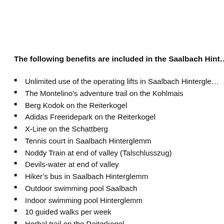The following benefits are included in the Saalbach Hint…
Unlimited use of the operating lifts in Saalbach Hintergle…
The Montelino's adventure trail on the Kohlmais
Berg Kodok on the Reiterkogel
Adidas Freeridepark on the Reiterkogel
X-Line on the Schattberg
Tennis court in Saalbach Hinterglemm
Noddy Train at end of valley (Talschlusszug)
Devils-water at end of valley
Hiker's bus in Saalbach Hinterglemm
Outdoor swimming pool Saalbach
Indoor swimming pool Hinterglemm
10 guided walks per week
Herbal trail on the Reiterkogel
Slide shows
Local folk museum/ski museum